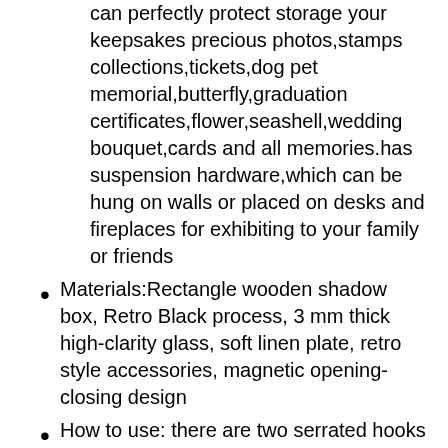can perfectly protect storage your keepsakes precious photos,stamps collections,tickets,dog pet memorial,butterfly,graduation certificates,flower,seashell,wedding bouquet,cards and all memories.has suspension hardware,which can be hung on walls or placed on desks and fireplaces for exhibiting to your family or friends
Materials:Rectangle wooden shadow box, Retro Black process, 3 mm thick high-clarity glass, soft linen plate, retro style accessories, magnetic opening-closing design
How to use: there are two serrated hooks on the back, which firmly hang the shadow box on the wall or support